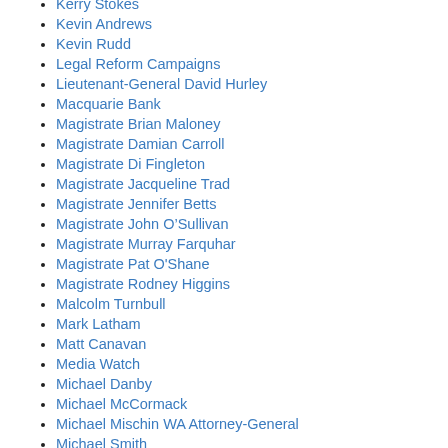Kerry Stokes
Kevin Andrews
Kevin Rudd
Legal Reform Campaigns
Lieutenant-General David Hurley
Macquarie Bank
Magistrate Brian Maloney
Magistrate Damian Carroll
Magistrate Di Fingleton
Magistrate Jacqueline Trad
Magistrate Jennifer Betts
Magistrate John O’Sullivan
Magistrate Murray Farquhar
Magistrate Pat O'Shane
Magistrate Rodney Higgins
Malcolm Turnbull
Mark Latham
Matt Canavan
Media Watch
Michael Danby
Michael McCormack
Michael Mischin WA Attorney-General
Michael Smith
Michael Sukkar
Michaelia Cash
Mike Baird
National Australia Bank
Noellie ...